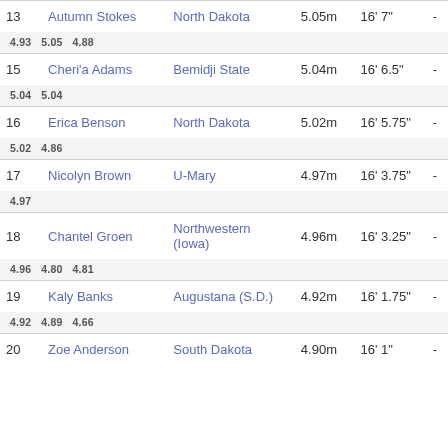| Rank | Name | School | Mark | Imperial | Pts |
| --- | --- | --- | --- | --- | --- |
| 13 | Autumn Stokes | North Dakota | 5.05m | 16' 7" | - |
| sub | 4.93  5.05  4.88 |  |  |  |  |
| 15 | Cheri'a Adams | Bemidji State | 5.04m | 16' 6.5" | - |
| sub | 5.04  5.04 |  |  |  |  |
| 16 | Erica Benson | North Dakota | 5.02m | 16' 5.75" | - |
| sub | 5.02  4.86 |  |  |  |  |
| 17 | Nicolyn Brown | U-Mary | 4.97m | 16' 3.75" | - |
| sub | 4.97 |  |  |  |  |
| 18 | Chantel Groen | Northwestern (Iowa) | 4.96m | 16' 3.25" | - |
| sub | 4.96  4.80  4.81 |  |  |  |  |
| 19 | Kaly Banks | Augustana (S.D.) | 4.92m | 16' 1.75" | - |
| sub | 4.92  4.89  4.66 |  |  |  |  |
| 20 | Zoe Anderson | South Dakota | 4.90m | 16' 1" | - |